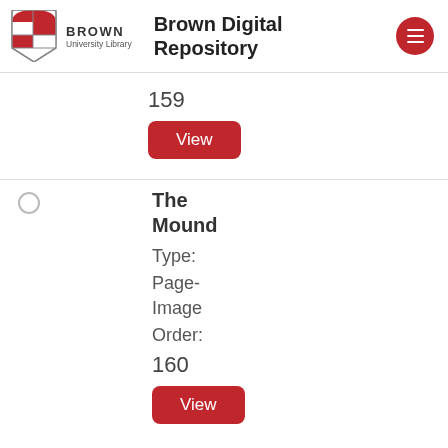Brown University Library — Brown Digital Repository
159
View
The Mound
Type:
Page-Image
Order:
160
View